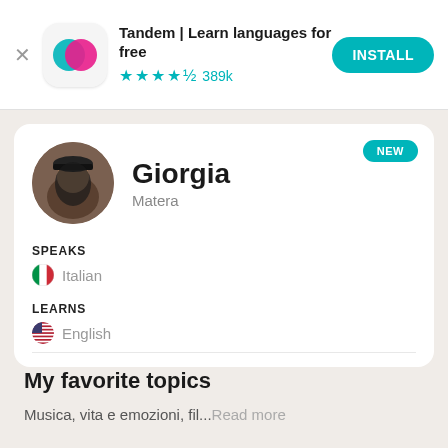[Figure (screenshot): Tandem app ad banner with app icon, title, stars, rating count, and install button]
Tandem | Learn languages for free
★★★★½ 389k
INSTALL
[Figure (photo): Circular profile photo of Giorgia, a young woman wearing a black cap]
NEW
Giorgia
Matera
SPEAKS
🇮🇹 Italian
LEARNS
🇺🇸 English
My favorite topics
Musica, vita e emozioni, fil... Read more